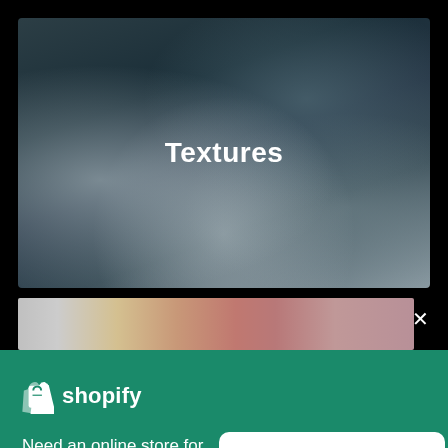[Figure (screenshot): Blurred dark teal/grey textured background image with the word 'Textures' displayed in white bold text at the center]
[Figure (screenshot): Blurred horizontal strip showing a gradient from grey to orange/pink tones, partially visible below the main screenshot]
[Figure (screenshot): Shopify promotional banner in teal/green color with Shopify logo, text 'Need an online store for your business?' and a 'Start free trial' button]